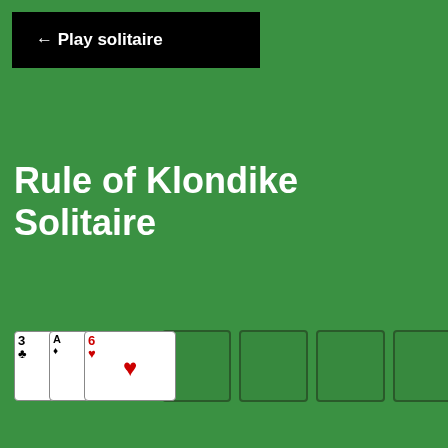← Play solitaire
Rule of Klondike Solitaire
[Figure (illustration): Klondike solitaire card game interface showing a stock/waste pile area with three face-up cards (3 of clubs, Ace of diamonds, 6 of hearts, and a heart symbol card) and four empty foundation slots to the right, all on a green felt background.]